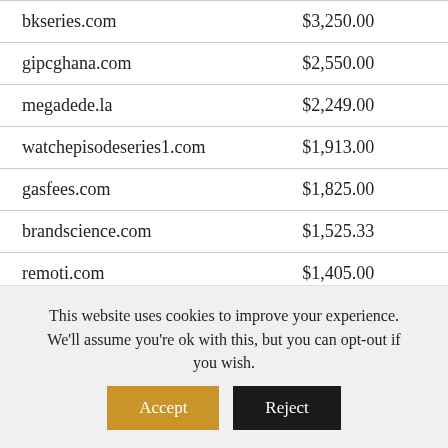| bkseries.com | $3,250.00 |
| gipcghana.com | $2,550.00 |
| megadede.la | $2,249.00 |
| watchepisodeseries1.com | $1,913.00 |
| gasfees.com | $1,825.00 |
| brandscience.com | $1,525.33 |
| remoti.com | $1,405.00 |
| espotifi.com | $1,009.00 |
| emotionalfreedom.com | $991.00 |
This website uses cookies to improve your experience. We'll assume you're ok with this, but you can opt-out if you wish.